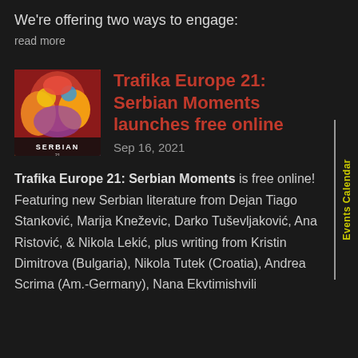We're offering two ways to engage:
read more
[Figure (illustration): Colorful illustrated book cover for Trafika Europe 21: Serbian Moments, featuring vibrant folk-art style imagery in reds, yellows, blues, and purples with the word SERBIAN visible at the bottom.]
Trafika Europe 21: Serbian Moments launches free online
Sep 16, 2021
Trafika Europe 21: Serbian Moments is free online! Featuring new Serbian literature from Dejan Tiago Stanković, Marija Kneževic, Darko Tuševljaković, Ana Ristović, & Nikola Lekić, plus writing from Kristin Dimitrova (Bulgaria), Nikola Tutek (Croatia), Andrea Scrima (Am.-Germany), Nana Ekvtimishvili
Events Calendar